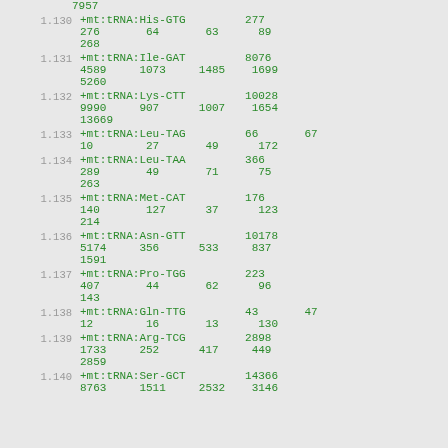7957
1.130  +mt:tRNA:His-GTG  277
276  64  63  89
268
1.131  +mt:tRNA:Ile-GAT  8076
4589  1073  1485  1699
5260
1.132  +mt:tRNA:Lys-CTT  10028
9990  907  1007  1654
13669
1.133  +mt:tRNA:Leu-TAG  66  67
10  27  49  172
1.134  +mt:tRNA:Leu-TAA  366
289  49  71  75
263
1.135  +mt:tRNA:Met-CAT  176
140  127  37  123
214
1.136  +mt:tRNA:Asn-GTT  10178
5174  356  533  837
1591
1.137  +mt:tRNA:Pro-TGG  223
407  44  62  96
143
1.138  +mt:tRNA:Gln-TTG  43  47
12  16  13  130
1.139  +mt:tRNA:Arg-TCG  2898
1733  252  417  449
2859
1.140  +mt:tRNA:Ser-GCT  14366
8763  1511  2532  3146